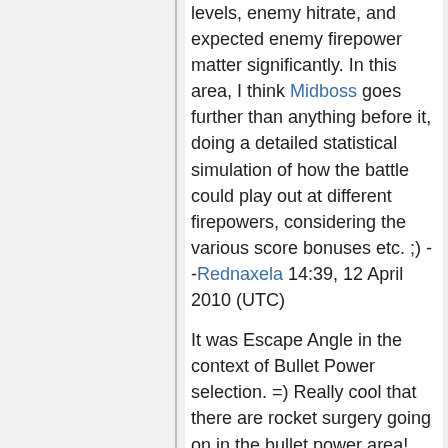levels, enemy hitrate, and expected enemy firepower matter significantly. In this area, I think Midboss goes further than anything before it, doing a detailed statistical simulation of how the battle could play out at different firepowers, considering the various score bonuses etc. ;) --Rednaxela 14:39, 12 April 2010 (UTC)
It was Escape Angle in the context of Bullet Power selection. =) Really cool that there are rocket surgery going on in the bullet power area! Still, have you tried releasing a version of Midboss which always fires power 2? --PEZ 04:35, 13 April 2010 (UTC)
Well, early versions of Midboss used RougeDC's bullet power selection, which was also somewhat adaptive to hitrate but not in nearly as depth. I had one